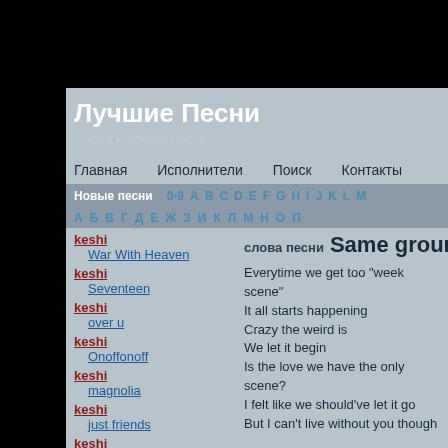Лучшие Песни
Слова и тексты песен
Главная  Исполнители  Поиск  Контакты
Новые песни  0-9  A  B  C  D  E  F  G  H  I  J  K  L  M
А  Б  В  Г  Д  Е  Ж  З  И  К  Л  М  Н  О  П
keshi - War With Heaven
keshi - Seventeen
keshi - over u
keshi - Onoffonoff
keshi - magnolia
keshi - just friends
keshi - beside you
keshi
слова песни Same ground again
Everytime we get too "week scene"
It all starts happening
Crazy the weird is
We let it begin
Is the love we have the only scene?
I felt like we should've let it go
But I can't live without you though